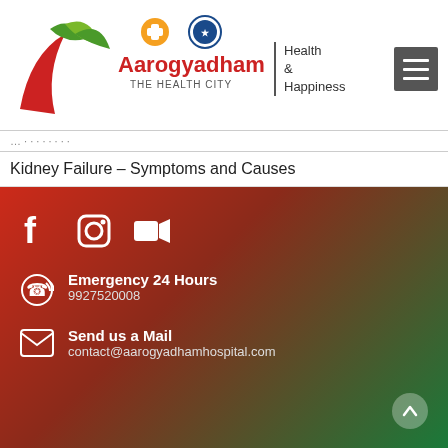[Figure (logo): Aarogyadham – The Health City logo with green leaves and red swoosh, circular emblem, and 'Health & Happiness' tagline]
Kidney Failure – Symptoms and Causes
Emergency 24 Hours
9927520008
Send us a Mail
contact@aarogyadhamhospital.com